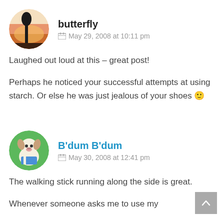[Figure (illustration): Round avatar showing a silhouette of a tree/building against a sunset sky]
butterfly
May 29, 2008 at 10:11 pm
Laughed out loud at this – great post!
Perhaps he noticed your successful attempts at using starch. Or else he was just jealous of your shoes 🙂
[Figure (illustration): Round avatar showing a cartoon dog character on a green background]
B'dum B'dum
May 30, 2008 at 12:41 pm
The walking stick running along the side is great.
Whenever someone asks me to use my